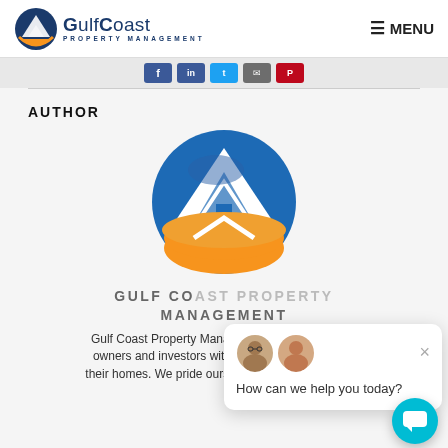Gulf Coast Property Management — MENU
[Figure (logo): Gulf Coast Property Management logo with mountain/house icon and social sharing icons bar]
AUTHOR
[Figure (logo): Gulf Coast Property Management large circular logo with blue and orange colors]
GULF COAST PROPERTY MANAGEMENT
Gulf Coast Property Management assists property owners and investors with the business of renting their homes. We pride ourselves on being landlord...